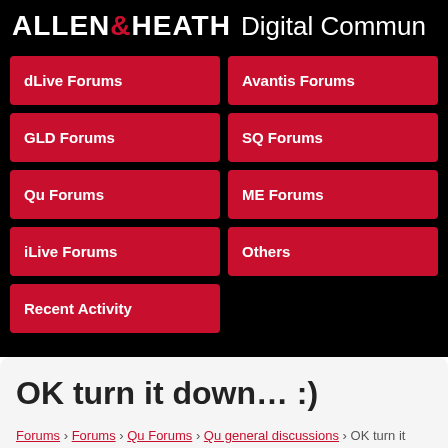ALLEN&HEATH Digital Commun
dLive Forums
Avantis Forums
GLD Forums
SQ Forums
Qu Forums
ME Forums
iLive Forums
Others
Recent Activity
OK turn it down… :)
Forums › Forums › Qu Forums › Qu general discussions › OK turn it down… :)
This topic contains 8 replies, has 5 voices, and was last updated by dpdan 8 years, 3 months ago.